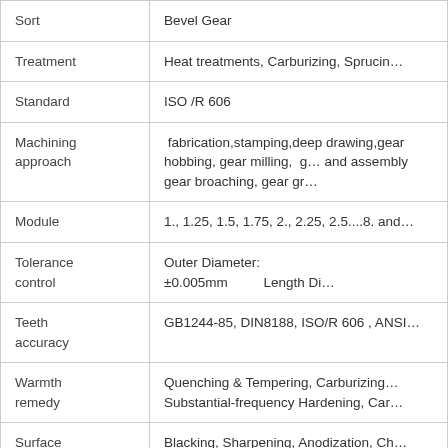| Property | Value |
| --- | --- |
| Sort | Bevel Gear |
| Treatment | Heat treatments, Carburizing, Sprucing… |
| Standard | ISO /R 606 |
| Machining approach | fabrication,stamping,deep drawing,gear hobbing, gear milling, g… and assembly gear broaching, gear gr… |
| Module | 1., 1.25, 1.5, 1.75, 2., 2.25, 2.5....8. and… |
| Tolerance control | Outer Diameter: ±0.005mm   Length Di… |
| Teeth accuracy | GB1244-85, DIN8188, ISO/R 606 , ANSI… |
| Warmth remedy | Quenching & Tempering, Carburizing… Substantial-frequency Hardening, Car… |
| Surface | Blacking, Sharpening, Anodization, Ch… |